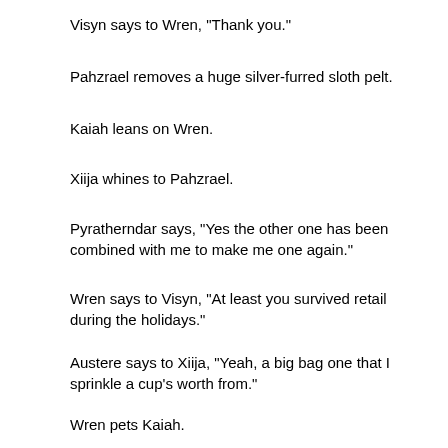Visyn says to Wren, "Thank you."
Pahzrael removes a huge silver-furred sloth pelt.
Kaiah leans on Wren.
Xiija whines to Pahzrael.
Pyratherndar says, "Yes the other one has been combined with me to make me one again."
Wren says to Visyn, "At least you survived retail during the holidays."
Austere says to Xiija, "Yeah, a big bag one that I sprinkle a cup's worth from."
Wren pets Kaiah.
Trystan says to Pyratherndar, "I think that would make you two."
Xiija chuckles at Austere.